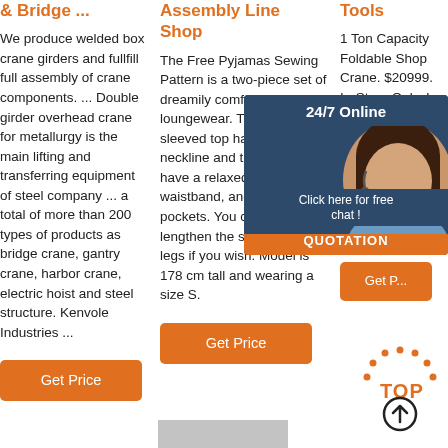& Bridge ...
We produce welded box crane girders and fullfill full assembly of crane components. ... Double girder overhead crane for metallurgy is the main lifting and transferring equipment of steel company ... a total of more than 200 types of products as bridge crane, gantry crane, harbor crane, electric hoist and steel structure. Kenvole Industries ...
Assembly Line Shop
The Free Pyjamas Sewing Pattern is a two-piece set of dreamily comfortable loungewear. The short-sleeved top has a wide neckline and the shorts have a relaxed fit, elastic waistband, and side seam pockets. You can easily lengthen the sleeves and legs if you wish. Model is 178 cm tall and wearing a size S.
Tools
1 Ton Capacity Foldable Shop Crane. $20999. In-Store Only. In-Store Only. Add to My List PITTSB... AUTOM... lb. Elect... Remote... 1300 lb. Hoist wi... Control.
[Figure (other): 24/7 Online chat popup with customer service avatar, 'Click here for free chat!' text and QUOTATION button]
[Figure (other): TOP scroll-to-top button with orange dotted arc and upward arrow icon]
[Figure (other): Partial image strip at bottom center]